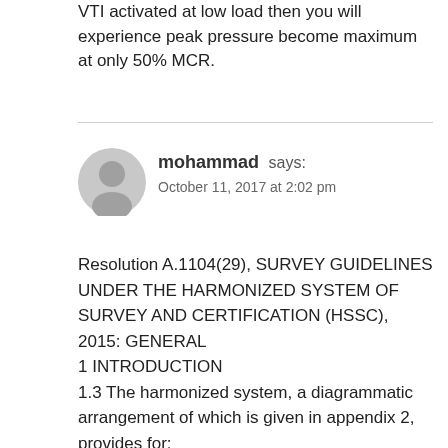VTI activated at low load then you will experience peak pressure become maximum at only 50% MCR.
[Figure (other): User avatar icon — grey silhouette of a person in a circle]
mohammad says:
October 11, 2017 at 2:02 pm
Resolution A.1104(29), SURVEY GUIDELINES UNDER THE HARMONIZED SYSTEM OF SURVEY AND CERTIFICATION (HSSC), 2015: GENERAL
1 INTRODUCTION
1.3 The harmonized system, a diagrammatic arrangement of which is given in appendix 2, provides for: